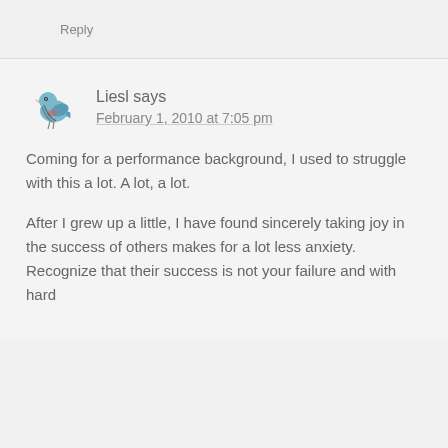Reply
Liesl says
February 1, 2010 at 7:05 pm
Coming for a performance background, I used to struggle with this a lot. A lot, a lot.
After I grew up a little, I have found sincerely taking joy in the success of others makes for a lot less anxiety. Recognize that their success is not your failure and with hard